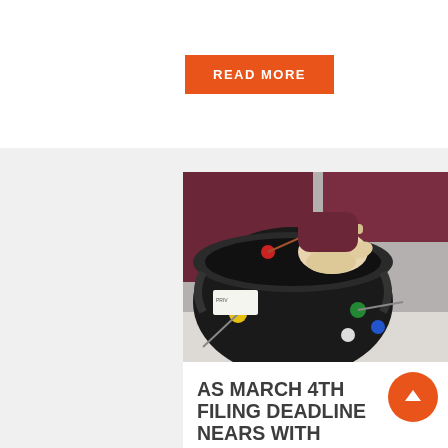READ MORE
[Figure (photo): A gloved hand in a maroon/dark red sleeve manipulates a black circular cryogenic storage device or canister with colored caps, on a white surface. The device has yellow, red, green, blue, and white colored ports/caps.]
AS MARCH 4TH FILING DEADLINE NEARS WITH ANNIVERSARY OF UH EMBRYO DESTRUCTION, TWO NEW CASES ARE